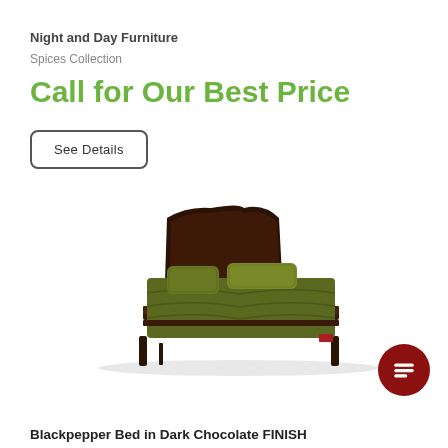Night and Day Furniture
Spices Collection
Call for Our Best Price
See Details
[Figure (photo): A bed with a dark chocolate wood headboard and frame, dressed with olive/dark green bedding and two pillows, photographed against a white background.]
Blackpepper Bed in Dark Chocolate FINISH